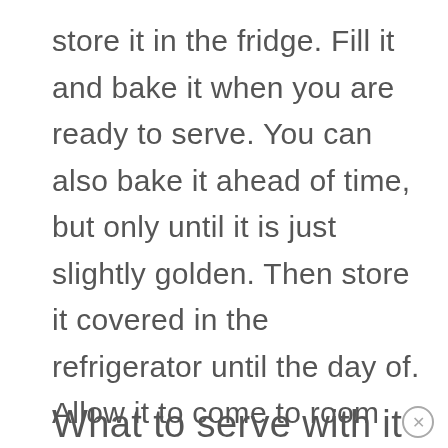store it in the fridge. Fill it and bake it when you are ready to serve. You can also bake it ahead of time, but only until it is just slightly golden. Then store it covered in the refrigerator until the day of. Allow it to come to room temperature, then bake it to a golden brown for the best appearance and texture.
What to serve with it